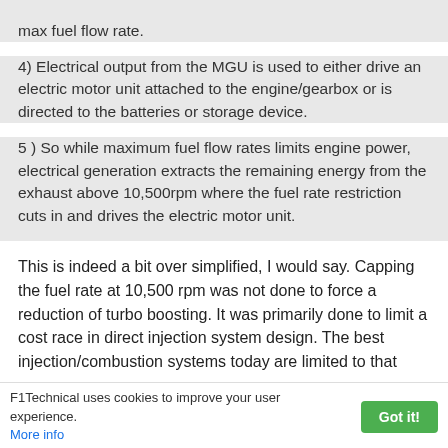max fuel flow rate.
4) Electrical output from the MGU is used to either drive an electric motor unit attached to the engine/gearbox or is directed to the batteries or storage device.
5 ) So while maximum fuel flow rates limits engine power, electrical generation extracts the remaining energy from the exhaust above 10,500rpm where the fuel rate restriction cuts in and drives the electric motor unit.
This is indeed a bit over simplified, I would say. Capping the fuel rate at 10,500 rpm was not done to force a reduction of turbo boosting. It was primarily done to limit a cost race in direct injection system design. The best injection/combustion systems today are limited to that
F1Technical uses cookies to improve your user experience. More info